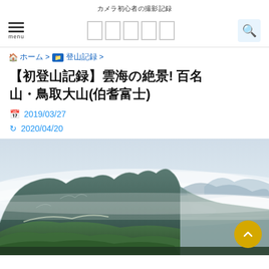カメラ初心者の撮影記録
menu [navigation] [search]
ホーム > 登山記録 >
【初登山記録】雲海の絶景! 百名山・鳥取大山(伯耆富士)
2019/03/27
2020/04/20
[Figure (photo): Mountain landscape panorama showing rocky ridgeline with green vegetation in foreground, misty sea of clouds in background with distant mountain peaks, taken from high elevation viewpoint]